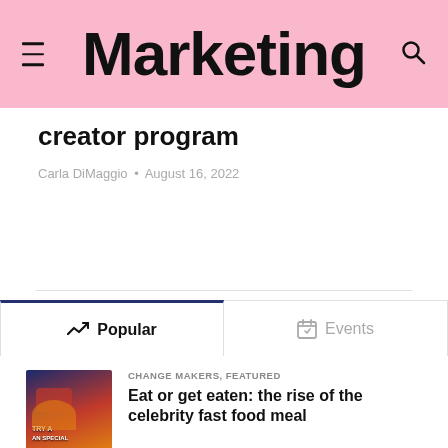Marketing
creator program
Carla DiMaggio · August 16, 2022
Popular
Events
CHANGE MAKERS, FEATURED
Eat or get eaten: the rise of the celebrity fast food meal
FEATURED, NEWS